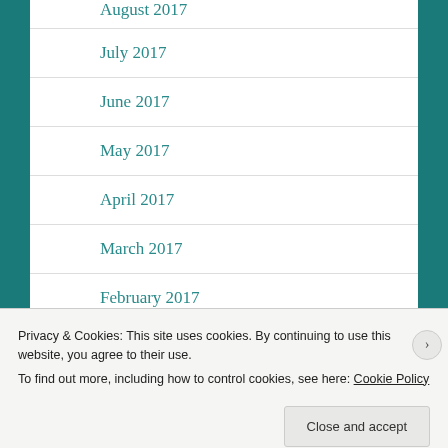August 2017
July 2017
June 2017
May 2017
April 2017
March 2017
February 2017
Privacy & Cookies: This site uses cookies. By continuing to use this website, you agree to their use.
To find out more, including how to control cookies, see here: Cookie Policy
Close and accept